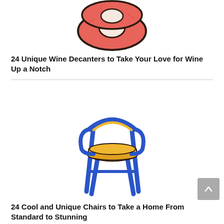[Figure (illustration): Illustration of a red/coral colored donut-shaped wine decanter viewed from above, with a rounded square opening in the center, drawn in a sketchy style with dark outlines]
24 Unique Wine Decanters to Take Your Love for Wine Up a Notch
[Figure (illustration): Illustration of a modern chair with a curved yellow backrest and seat, supported by blue angled legs, drawn in a bold cartoon/comic style]
24 Cool and Unique Chairs to Take a Home From Standard to Stunning